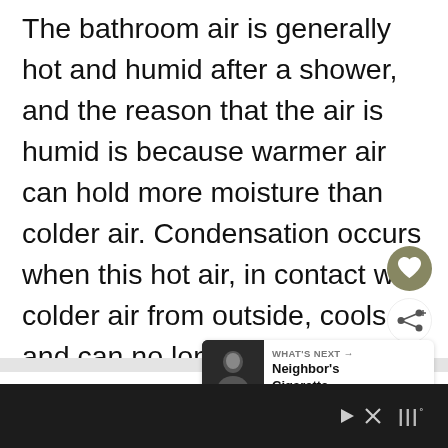The bathroom air is generally hot and humid after a shower, and the reason that the air is humid is because warmer air can hold more moisture than colder air. Condensation occurs when this hot air, in contact with colder air from outside, cools and can no longer hold as much water.
[Figure (screenshot): UI overlay showing a like (heart) button in olive/khaki circle and a share button in white circle with shadow]
[Figure (screenshot): What's Next card showing a thumbnail image of a person and text: WHAT'S NEXT → Neighbor's Cigarette...]
▶ ✕  |||°